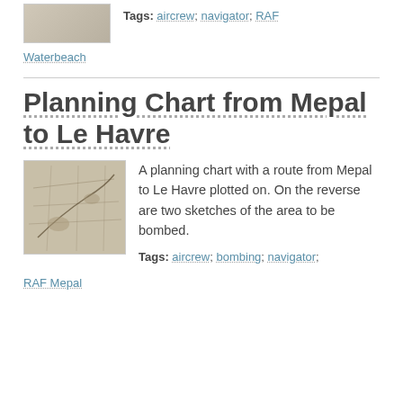[Figure (photo): Small thumbnail image at top of page, partially visible]
Tags: aircrew; navigator; RAF
Waterbeach
Planning Chart from Mepal to Le Havre
[Figure (photo): Thumbnail image of a planning chart map showing a route from Mepal to Le Havre]
A planning chart with a route from Mepal to Le Havre plotted on. On the reverse are two sketches of the area to be bombed.
Tags: aircrew; bombing; navigator;
RAF Mepal